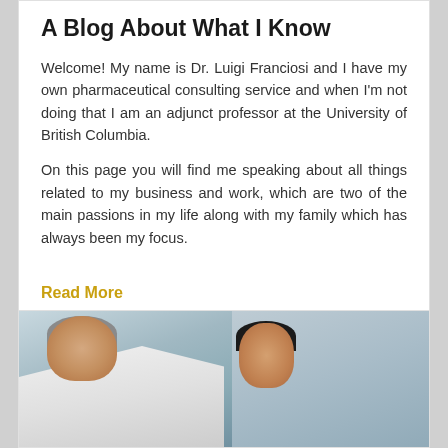A Blog About What I Know
Welcome! My name is Dr. Luigi Franciosi and I have my own pharmaceutical consulting service and when I'm not doing that I am an adjunct professor at the University of British Columbia.
On this page you will find me speaking about all things related to my business and work, which are two of the main passions in my life along with my family which has always been my focus.
Read More
[Figure (photo): A doctor in a white coat with a stethoscope (seen from behind) consulting with a female patient in a medical office setting, with medical supplies visible in the background.]